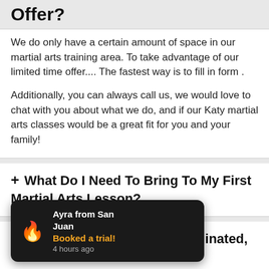Offer?
We do only have a certain amount of space in our martial arts training area.  To take advantage of our limited time offer.... The fastest way is to fill in form .
Additionally, you can always call us, we would love to chat with you about what we do, and if our Katy martial arts classes would be a great fit for you and your family!
+ What Do I Need To Bring To My First Martial Arts Lesson?
+ I'm Not Very Sporty or Coordinated, ... em?
Ayra from San Juan
Booked a trial!
4 hours ago